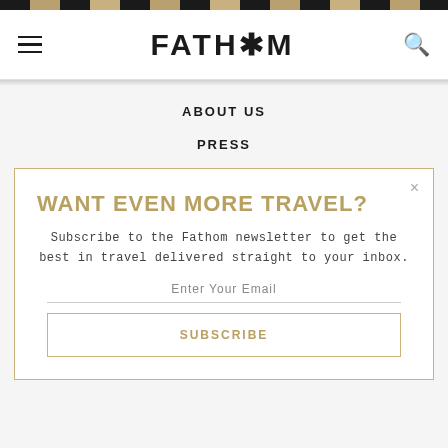[Figure (screenshot): Decorative top stripe with alternating dark and tan/gold colored blocks]
FATH*M — navigation bar with hamburger menu and search icon
ABOUT US
PRESS
WANT EVEN MORE TRAVEL?
Subscribe to the Fathom newsletter to get the best in travel delivered straight to your inbox.
Enter Your Email
SUBSCRIBE